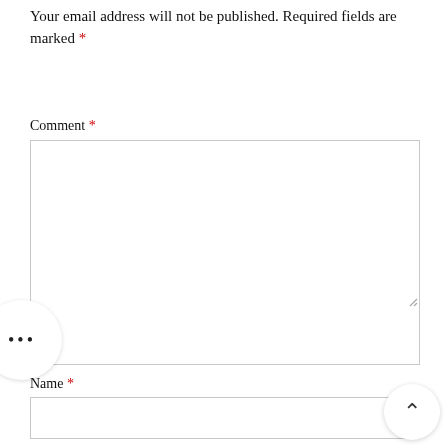Your email address will not be published. Required fields are marked *
Comment *
[Figure (other): Large empty textarea for comment input with resize handle at bottom right]
Name *
[Figure (other): Empty text input field for name]
Email *